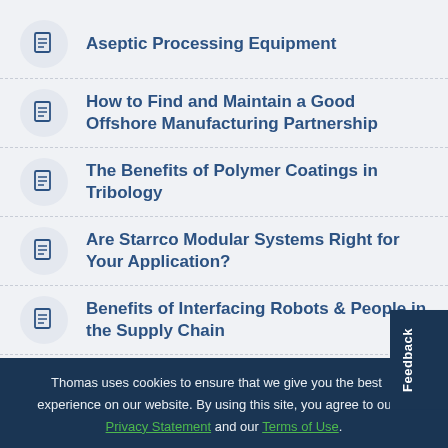Aseptic Processing Equipment
How to Find and Maintain a Good Offshore Manufacturing Partnership
The Benefits of Polymer Coatings in Tribology
Are Starrco Modular Systems Right for Your Application?
Benefits of Interfacing Robots & People in the Supply Chain
Thomas uses cookies to ensure that we give you the best experience on our website. By using this site, you agree to our Privacy Statement and our Terms of Use.